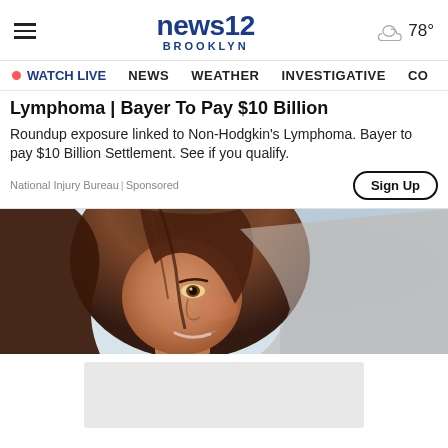news12 BROOKLYN — ☁ 78°
WATCH LIVE  NEWS  WEATHER  INVESTIGATIVE  CO
Lymphoma | Bayer To Pay $10 Billion
Roundup exposure linked to Non-Hodgkin's Lymphoma. Bayer to pay $10 Billion Settlement. See if you qualify.
National Injury Bureau | Sponsored
[Figure (photo): Close-up photo of a smiling woman with long brown hair, blurred background]
[Figure (other): Gray placeholder advertisement rectangle at the bottom]